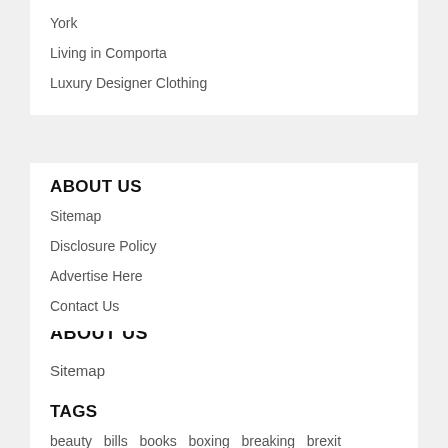York
Living in Comporta
Luxury Designer Clothing
ABOUT US
Sitemap
Disclosure Policy
Advertise Here
Contact Us
TAGS
beauty  bills  books  boxing  breaking  brexit